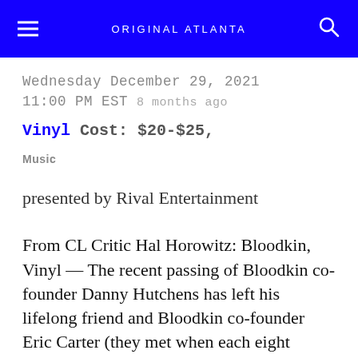ORIGINAL ATLANTA
Wednesday December 29, 2021
11:00 PM EST 8 months ago
Vinyl Cost: $20-$25,
Music
presented by Rival Entertainment
From CL Critic Hal Horowitz: Bloodkin, Vinyl — The recent passing of Bloodkin co-founder Danny Hutchens has left his lifelong friend and Bloodkin co-founder Eric Carter (they met when each eight